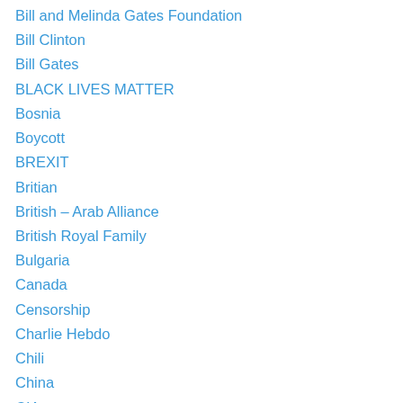Bill and Melinda Gates Foundation
Bill Clinton
Bill Gates
BLACK LIVES MATTER
Bosnia
Boycott
BREXIT
Britian
British – Arab Alliance
British Royal Family
Bulgaria
Canada
Censorship
Charlie Hebdo
Chili
China
CIA
Clinton Crimes
Clinton Foundation
Codepink